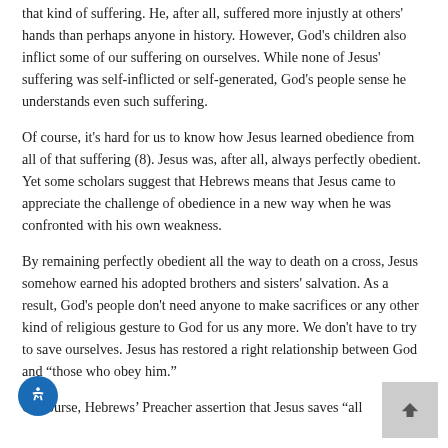that kind of suffering.  He, after all, suffered more injustly at others' hands than perhaps anyone in history.  However, God's children also inflict some of our suffering on ourselves.  While none of Jesus' suffering was self-inflicted or self-generated, God's people sense he understands even such suffering.
Of course, it's hard for us to know how Jesus learned obedience from all of that suffering (8).  Jesus was, after all, always perfectly obedient.  Yet some scholars suggest that Hebrews means that Jesus came to appreciate the challenge of obedience in a new way when he was confronted with his own weakness.
By remaining perfectly obedient all the way to death on a cross, Jesus somehow earned his adopted brothers and sisters' salvation.  As a result, God's people don't need anyone to make sacrifices or any other kind of religious gesture to God for us any more.  We don't have to try to save ourselves.  Jesus has restored a right relationship between God and "those who obey him."
Of course, Hebrews' Preacher assertion that Jesus saves "all